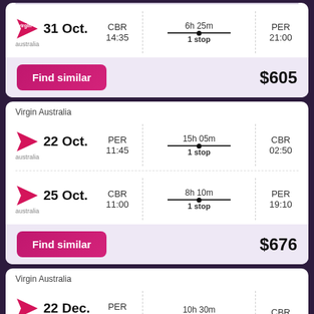31 Oct. CBR 14:35 — 6h 25m 1 stop — PER 21:00
Find similar $605
Virgin Australia
22 Oct. PER 11:45 — 15h 05m 1 stop — CBR 02:50
25 Oct. CBR 11:00 — 8h 10m 1 stop — PER 19:10
Find similar $676
Virgin Australia
22 Dec. PER — 10h 30m — CBR